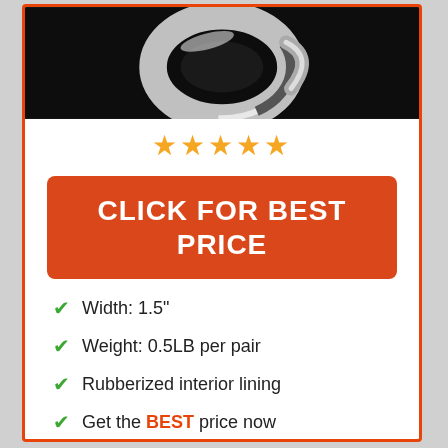[Figure (photo): Black and white close-up photo of a metallic ring/band product against a dark background]
[Figure (other): Five gold star rating icons]
CLICK FOR BEST PRICE
Width: 1.5"
Weight: 0.5LB per pair
Rubberized interior lining
Get the BEST price now